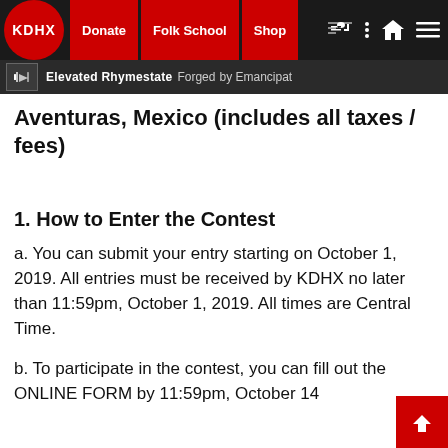KDHX | Donate | Folk School | Shop
Elevated Rhymestate Forged by Emancipat
Aventuras, Mexico (includes all taxes / fees)
1. How to Enter the Contest
a. You can submit your entry starting on October 1, 2019. All entries must be received by KDHX no later than 11:59pm, October 1, 2019. All times are Central Time.
b. To participate in the contest, you can fill out the ONLINE FORM by 11:59pm, October 14